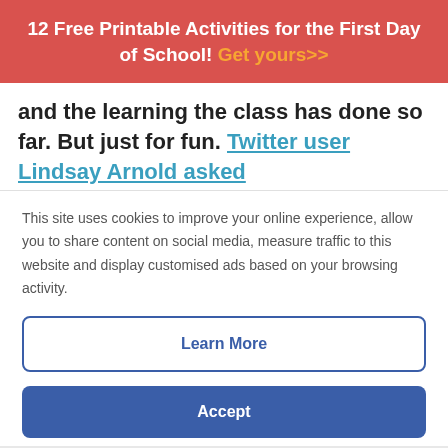12 Free Printable Activities for the First Day of School! Get yours>>
and the learning the class has done so far. But just for fun. Twitter user Lindsay Arnold asked
This site uses cookies to improve your online experience, allow you to share content on social media, measure traffic to this website and display customised ads based on your browsing activity.
Learn More
Accept
[Figure (screenshot): Disney Bundle advertisement banner with Hulu, Disney+, ESPN+ logos and GET THE DISNEY BUNDLE CTA button]
[Figure (screenshot): Social media share bar with Facebook and email icons on dark blue background]